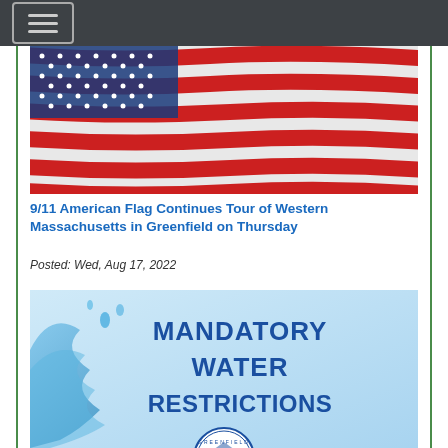[Figure (photo): Close-up photo of the American flag waving, showing red and white stripes with blue sky background.]
9/11 American Flag Continues Tour of Western Massachusetts in Greenfield on Thursday
Posted: Wed, Aug 17, 2022
[Figure (infographic): Mandatory Water Restrictions announcement graphic with blue water splash imagery and Greenfield city seal, text reading MANDATORY WATER RESTRICTIONS.]